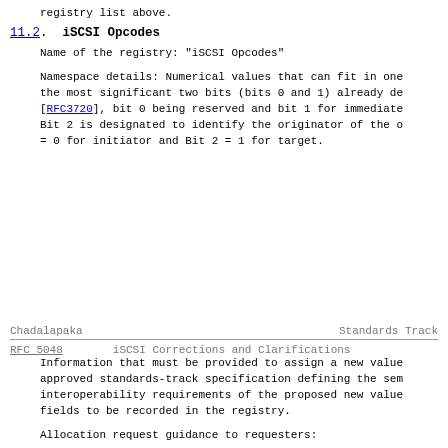registry list above.
11.2.  iSCSI Opcodes
Name of the registry: "iSCSI Opcodes"
Namespace details: Numerical values that can fit in one the most significant two bits (bits 0 and 1) already de [RFC3720], bit 0 being reserved and bit 1 for immediate Bit 2 is designated to identify the originator of the o = 0 for initiator and Bit 2 = 1 for target.
Chadalapaka                         Standards Track
RFC 5048          iSCSI Corrections and Clarifications
Information that must be provided to assign a new value approved standards-track specification defining the sem interoperability requirements of the proposed new value fields to be recorded in the registry.
Allocation request guidance to requesters: